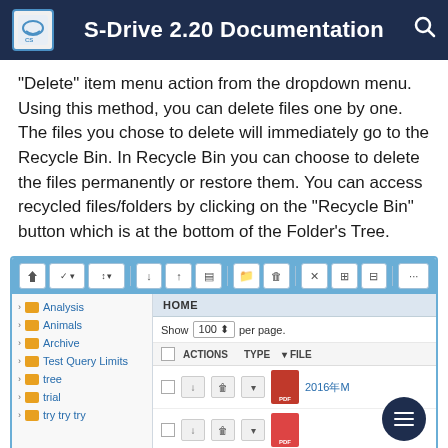S-Drive 2.20 Documentation
"Delete" item menu action from the dropdown menu. Using this method, you can delete files one by one. The files you chose to delete will immediately go to the Recycle Bin. In Recycle Bin you can choose to delete the files permanently or restore them. You can access recycled files/folders by clicking on the "Recycle Bin" button which is at the bottom of the Folder's Tree.
[Figure (screenshot): S-Drive application screenshot showing file manager interface with toolbar buttons, left sidebar with folder tree (Analysis, Animals, Archive, Test Query Limits, tree, trial, try try try), and right content pane showing HOME view with ACTIONS, TYPE, FILE columns and a PDF file row. A dark circular FAB button with hamburger menu is visible in bottom right.]